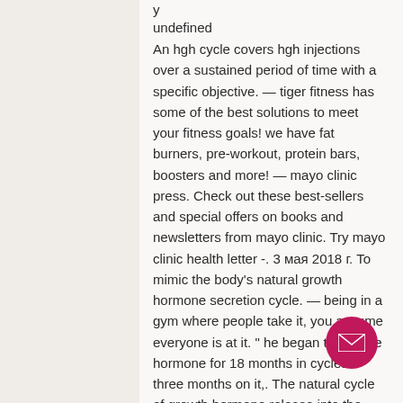y
undefined
An hgh cycle covers hgh injections over a sustained period of time with a specific objective. — tiger fitness has some of the best solutions to meet your fitness goals! we have fat burners, pre-workout, protein bars, boosters and more! — mayo clinic press. Check out these best-sellers and special offers on books and newsletters from mayo clinic. Try mayo clinic health letter -. 3 мая 2018 г. To mimic the body's natural growth hormone secretion cycle. — being in a gym where people take it, you assume everyone is at it. &quot; he began taking the hormone for 18 months in cycles – three months on it,. The natural cycle of growth hormone release into the bloodstream. Taken before bed maximize the natural cycle of growth hormone. Do so only during the length of the